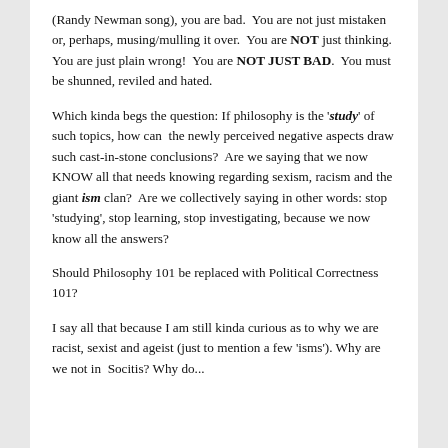(Randy Newman song), you are bad.  You are not just mistaken or, perhaps, musing/mulling it over.  You are NOT just thinking.  You are just plain wrong!  You are NOT JUST BAD.  You must be shunned, reviled and hated.
Which kinda begs the question: If philosophy is the 'study' of such topics, how can  the newly perceived negative aspects draw such cast-in-stone conclusions?  Are we saying that we now KNOW all that needs knowing regarding sexism, racism and the giant ism clan?  Are we collectively saying in other words: stop 'studying', stop learning, stop investigating, because we now know all the answers?
Should Philosophy 101 be replaced with Political Correctness 101?
I say all that because I am still kinda curious as to why we are racist, sexist and ageist (just to mention a few 'isms'). Why are we not in Socitis? Why do...